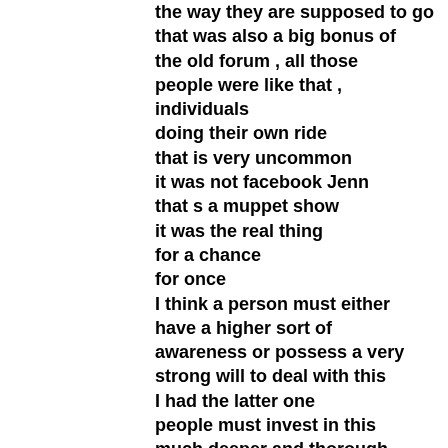the way they are supposed to go that was also a big bonus of the old forum , all those people were like that , individuals doing their own ride that is very uncommon it was not facebook Jenn that s a muppet show it was the real thing for a chance for once I think a person must either have a higher sort of awareness or possess a very strong will to deal with this I had the latter one people must invest in this much deeper and thorough, you know it is real work all this stuff but folk dont know how to do there is no quick fix